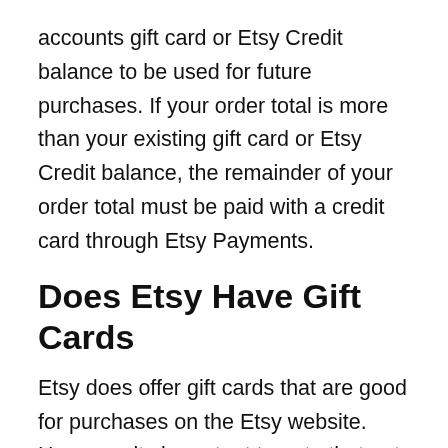accounts gift card or Etsy Credit balance to be used for future purchases. If your order total is more than your existing gift card or Etsy Credit balance, the remainder of your order total must be paid with a credit card through Etsy Payments.
Does Etsy Have Gift Cards
Etsy does offer gift cards that are good for purchases on the Etsy website. However, its important to note that not all Etsy shops accept gift cards for purchases. The decision to accept gift cards is up to the individual vendor. You can visit the Etsy Gift Cards & Credits page to search for Etsy items and shops where gift cards are accepted.
Etsy gift cards are not the credit-card style plastic cards with magnetic strips similar to other store gift cards, since Etsy